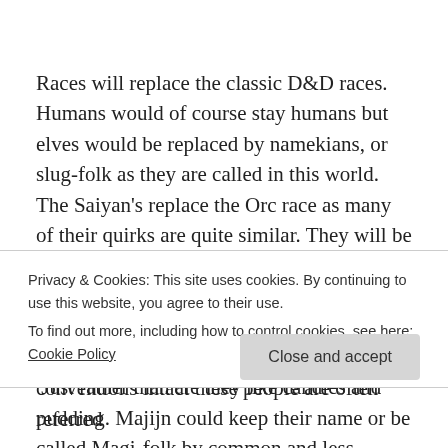Races will replace the classic D&D races. Humans would of course stay humans but elves would be replaced by namekians, or slug-folk as they are called in this world. The Saiyan's replace the Orc race as many of their quirks are quite similar. They will be called Ape-Folk   Maijin will replace the dwarves.  While seemingly not all that similar, their hedonist lifestyle and slightly oafish ways make for a good counterpart.  Just rather than ale they like candies and pudding. Majijn could keep their name or be called Magi-folk by common and less educated
Privacy & Cookies: This site uses cookies. By continuing to use this website, you agree to their use.
To find out more, including how to control cookies, see here: Cookie Policy
Close and accept
conventions intact these people are often referred